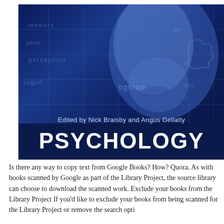[Figure (illustration): Book cover of 'PSYCHOLOGY' edited by Nick Braisby and Angus Gellatly. Dark blue background with a stylized female face rendered in blue tones, overlaid with grid lines and semi-transparent psychology-related words (perception, cognition, etc.). The bottom portion shows the title 'PSYCHOLOGY' in large bold white letters, and above it 'Edited by Nick Braisby and Angus Gellatly' in smaller text.]
Is there any way to copy text from Google Books? How? Quora. As with books scanned by Google as part of the Library Project, the source library can choose to download the scanned work. Exclude your books from the Library Project If you'd like to exclude your books from being scanned for the Library Project or remove the search opti